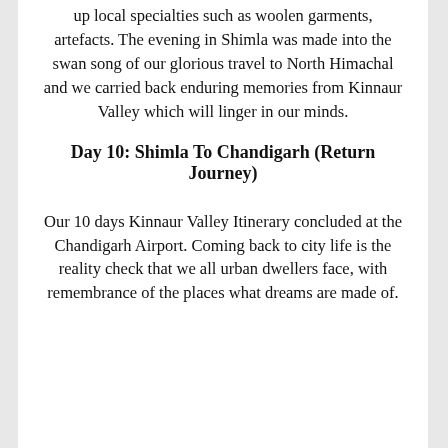up local specialties such as woolen garments, artefacts. The evening in Shimla was made into the swan song of our glorious travel to North Himachal and we carried back enduring memories from Kinnaur Valley which will linger in our minds.
Day 10: Shimla To Chandigarh (Return Journey)
Our 10 days Kinnaur Valley Itinerary concluded at the Chandigarh Airport. Coming back to city life is the reality check that we all urban dwellers face, with remembrance of the places what dreams are made of.